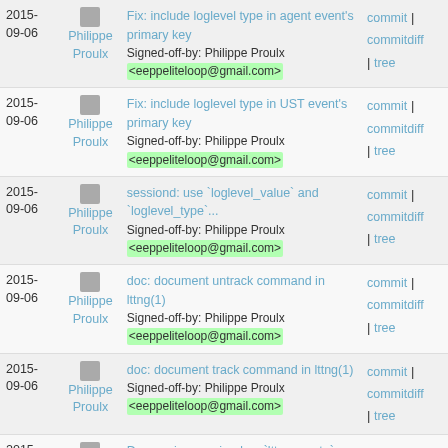| Date | Author | Commit Message | Links |
| --- | --- | --- | --- |
| 2015-09-06 | Philippe Proulx | Fix: include loglevel type in agent event's primary key
Signed-off-by: Philippe Proulx <eeppeliteloop@gmail.com> | commit | commitdiff | tree |
| 2015-09-06 | Philippe Proulx | Fix: include loglevel type in UST event's primary key
Signed-off-by: Philippe Proulx <eeppeliteloop@gmail.com> | commit | commitdiff | tree |
| 2015-09-06 | Philippe Proulx | sessiond: use `loglevel_value` and `loglevel_type`...
Signed-off-by: Philippe Proulx <eeppeliteloop@gmail.com> | commit | commitdiff | tree |
| 2015-09-06 | Philippe Proulx | doc: document untrack command in lttng(1)
Signed-off-by: Philippe Proulx <eeppeliteloop@gmail.com> | commit | commitdiff | tree |
| 2015-09-06 | Philippe Proulx | doc: document track command in lttng(1)
Signed-off-by: Philippe Proulx <eeppeliteloop@gmail.com> | commit | commitdiff | tree |
| 2015-09-06 | Philippe Proulx | Daemonize sessiond on `lttng create`
Signed-off-by: Philippe Proulx <eeppeliteloop@gmail.com> | commit | tree |